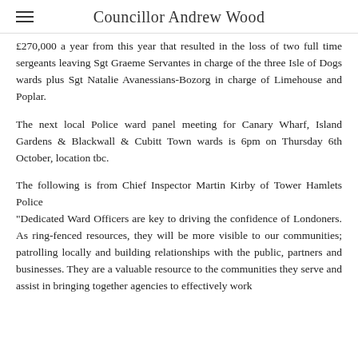Councillor Andrew Wood
£270,000 a year from this year that resulted in the loss of two full time sergeants leaving Sgt Graeme Servantes in charge of the three Isle of Dogs wards plus Sgt Natalie Avanessians-Bozorg in charge of Limehouse and Poplar.
The next local Police ward panel meeting for Canary Wharf, Island Gardens & Blackwall & Cubitt Town wards is 6pm on Thursday 6th October, location tbc.
The following is from Chief Inspector Martin Kirby of Tower Hamlets Police
"Dedicated Ward Officers are key to driving the confidence of Londoners. As ring-fenced resources, they will be more visible to our communities; patrolling locally and building relationships with the public, partners and businesses. They are a valuable resource to the communities they serve and assist in bringing together agencies to effectively work